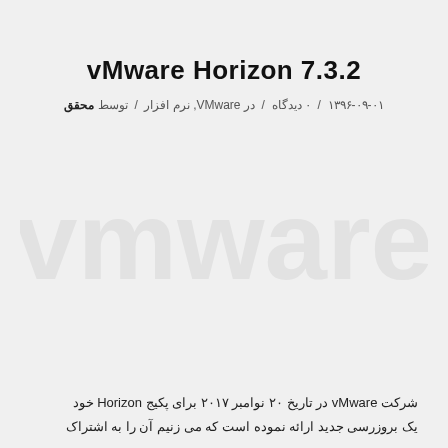vMware Horizon 7.3.2
۱۳۹۶-۰۹-۰۱ / ۰ دیدگاه / در VMware, نرم افزار / توسط محقق
[Figure (logo): Watermark/background logo in light gray]
شرکت vMware در تاریخ ۲۰ نوامبر ۲۰۱۷ برای پکیج Horizon خود یک بروزرسی جدید ارائه نموده است که می زنیم آن را به اشتراک